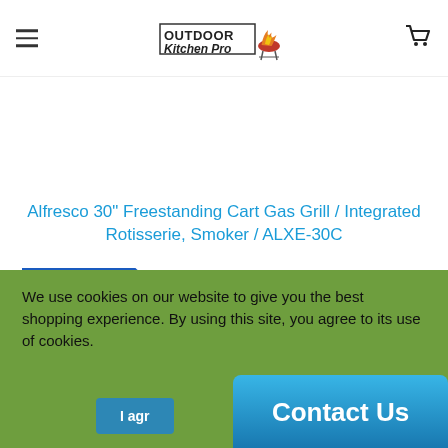Outdoor Kitchen Pro — navigation header with hamburger menu and cart icon
Alfresco 30" Freestanding Cart Gas Grill / Integrated Rotisserie, Smoker / ALXE-30C
Ships for Free
$5,635.00 USD
We use cookies on our website to give you the best shopping experience. By using this site, you agree to its use of cookies.
I agr
Contact Us